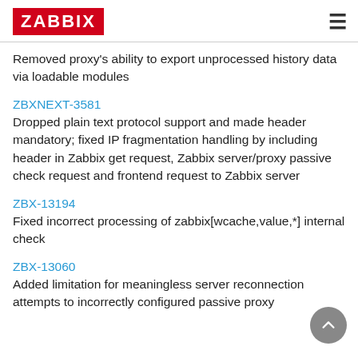ZABBIX
Removed proxy’s ability to export unprocessed history data via loadable modules
ZBXNEXT-3581
Dropped plain text protocol support and made header mandatory; fixed IP fragmentation handling by including header in Zabbix get request, Zabbix server/proxy passive check request and frontend request to Zabbix server
ZBX-13194
Fixed incorrect processing of zabbix[wcache,value,*] internal check
ZBX-13060
Added limitation for meaningless server reconnection attempts to incorrectly configured passive proxy